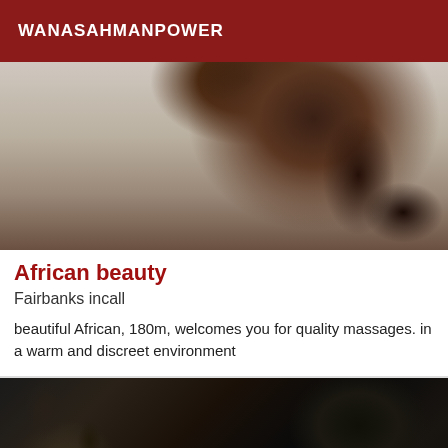WANASAHMANPOWER
[Figure (photo): Close-up photo of a person with dark curly hair against a light gray background, head tilted, hair visible prominently]
African beauty
Fairbanks incall
beautiful African, 180m, welcomes you for quality massages. in a warm and discreet environment
[Figure (photo): Close-up photo of a person wearing a black lace top/clothing]